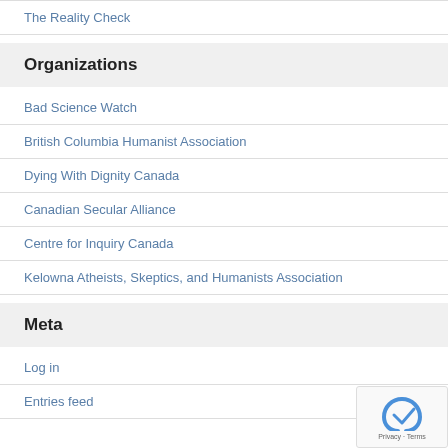The Reality Check
Organizations
Bad Science Watch
British Columbia Humanist Association
Dying With Dignity Canada
Canadian Secular Alliance
Centre for Inquiry Canada
Kelowna Atheists, Skeptics, and Humanists Association
Meta
Log in
Entries feed